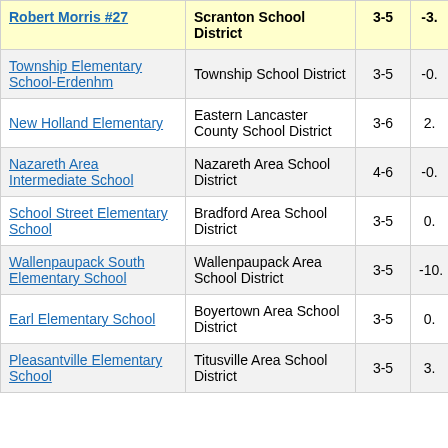| Robert Morris #27 | Scranton School District | 3-5 | -3. |
| --- | --- | --- | --- |
| Township Elementary School-Erdenhm | Township School District | 3-5 | -0. |
| New Holland Elementary | Eastern Lancaster County School District | 3-6 | 2. |
| Nazareth Area Intermediate School | Nazareth Area School District | 4-6 | -0. |
| School Street Elementary School | Bradford Area School District | 3-5 | 0. |
| Wallenpaupack South Elementary School | Wallenpaupack Area School District | 3-5 | -10. |
| Earl Elementary School | Boyertown Area School District | 3-5 | 0. |
| Pleasantville Elementary School | Titusville Area School District | 3-5 | 3. |